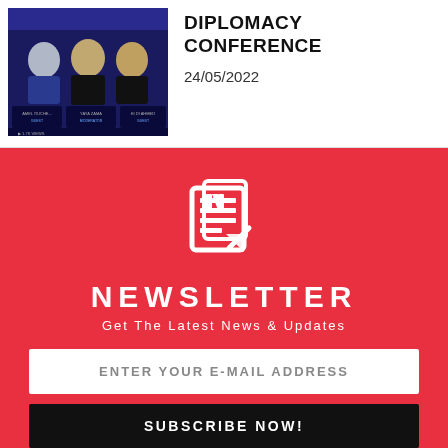[Figure (photo): Conference promotional image showing three speakers against a dark blue background with text labels for speaker names]
DIPLOMACY CONFERENCE
24/05/2022
[Figure (illustration): White newspaper/newsletter icon on red background]
NEWSLETTER
Get The Latest News & Updates
ENTER YOUR E-MAIL ADDRESS
SUBSCRIBE NOW!